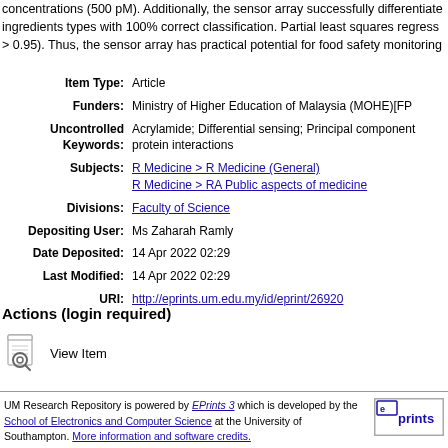concentrations (500 pM). Additionally, the sensor array successfully differentiated ingredients types with 100% correct classification. Partial least squares regress > 0.95). Thus, the sensor array has practical potential for food safety monitoring
| Item Type: | Article |
| Funders: | Ministry of Higher Education of Malaysia (MOHE)[FP... |
| Uncontrolled Keywords: | Acrylamide; Differential sensing; Principal component... protein interactions |
| Subjects: | R Medicine > R Medicine (General)
R Medicine > RA Public aspects of medicine |
| Divisions: | Faculty of Science |
| Depositing User: | Ms Zaharah Ramly |
| Date Deposited: | 14 Apr 2022 02:29 |
| Last Modified: | 14 Apr 2022 02:29 |
| URI: | http://eprints.um.edu.my/id/eprint/26920 |
Actions (login required)
View Item
UM Research Repository is powered by EPrints 3 which is developed by the School of Electronics and Computer Science at the University of Southampton. More information and software credits.